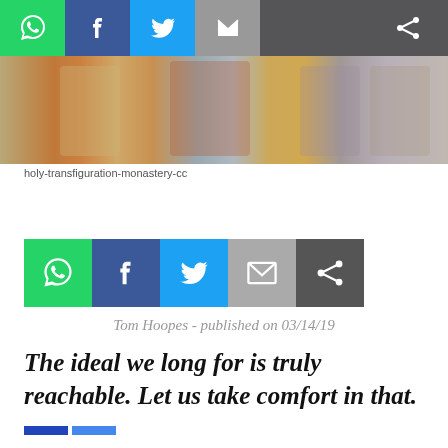[Figure (other): Top navigation/share bar with WhatsApp, Facebook, Twitter, Email, and share icons on dark background]
[Figure (photo): Religious icon painting showing saints/clergy figures in traditional Orthodox style]
holy-transfiguration-monastery-cc
[Figure (other): Social share button bar with WhatsApp (green), Facebook (blue), Twitter (cyan), Email (gray), Share (dark) buttons]
Tom Hoopes - published on 03/14/19
The ideal we long for is truly reachable. Let us take comfort in that.